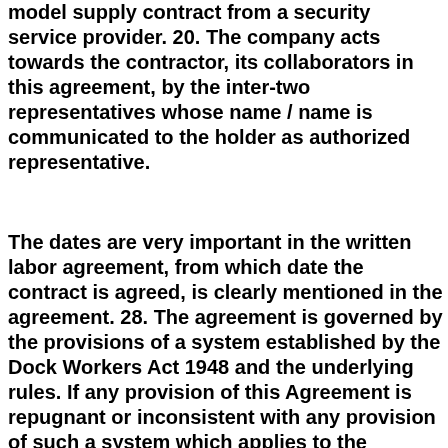model supply contract from a security service provider. 20. The company acts towards the contractor, its collaborators in this agreement, by the inter-two representatives whose name / name is communicated to the holder as authorized representative.
The dates are very important in the written labor agreement, from which date the contract is agreed, is clearly mentioned in the agreement. 28. The agreement is governed by the provisions of a system established by the Dock Workers Act 1948 and the underlying rules. If any provision of this Agreement is repugnant or inconsistent with any provision of such a system which applies to the employment of dockers and which applies to this Agreement, that provision of the Agreement shall be treated in a